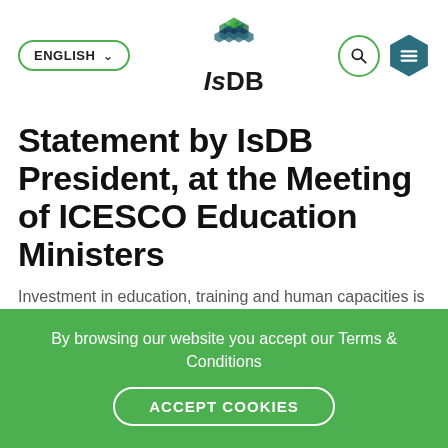ENGLISH | IsDB logo | Search | Menu
Statement by IsDB President, at the Meeting of ICESCO Education Ministers
Investment in education, training and human capacities is a priority for the Islamic Development Bank. Since its establishment 45 years ago, the IsDB has funded 2,000 educational projects in 136 countries, including member
By browsing our website you accept our Terms & Conditions
ACCEPT COOKIES